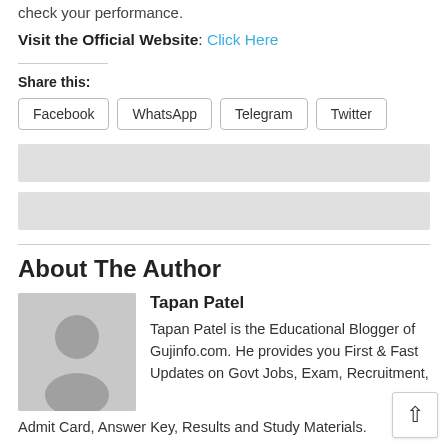check your performance.
Visit the Official Website: Click Here
Share this:
Facebook
WhatsApp
Telegram
Twitter
About The Author
Tapan Patel
Tapan Patel is the Educational Blogger of Gujinfo.com. He provides you First & Fast Updates on Govt Jobs, Exam, Recruitment, Admit Card, Answer Key, Results and Study Materials.